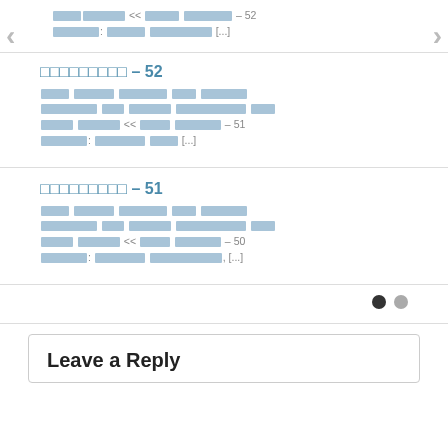[redacted] [redacted] << [redacted] [redacted] – 52 [redacted]: [redacted] [redacted] [...]
[redacted] – 52
[redacted block paragraph about item 52 referencing item 51]
[redacted] – 51
[redacted block paragraph about item 51 referencing item 50]
Leave a Reply